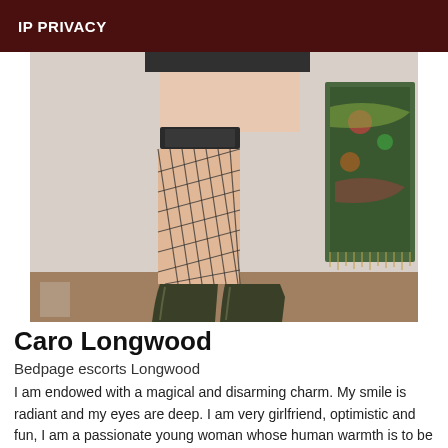IP PRIVACY
[Figure (photo): Photo of a person's lower body wearing fishnet stockings, a short dark skirt, and tall dark green knee-high boots, standing in a room with a decorative tapestry on the wall.]
Caro Longwood
Bedpage escorts Longwood
I am endowed with a magical and disarming charm. My smile is radiant and my eyes are deep. I am very girlfriend, optimistic and fun, I am a passionate young woman whose human warmth is to be shared . I love to share all the pleasures of life and feel my partner vibrate